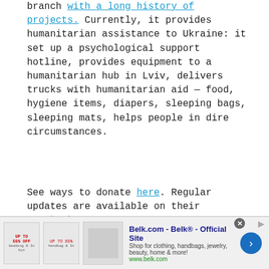branch with a long history of projects. Currently, it provides humanitarian assistance to Ukraine: it set up a psychological support hotline, provides equipment to a humanitarian hub in Lviv, delivers trucks with humanitarian aid — food, hygiene items, diapers, sleeping bags, sleeping mats, helps people in dire circumstances.
See ways to donate here. Regular updates are available on their Facebook page.
[Figure (illustration): Decorative curly divider line]
Donbas SOS
[Figure (illustration): Red circle/logo image for Donbas SOS]
Donbas SOS is an NGO founded in March 2014 by Donbas activists. It
[Figure (screenshot): Belk.com advertisement banner: Belk® - Official Site. Shop for clothing, handbags, jewelry, beauty, home & more! www.belk.com]